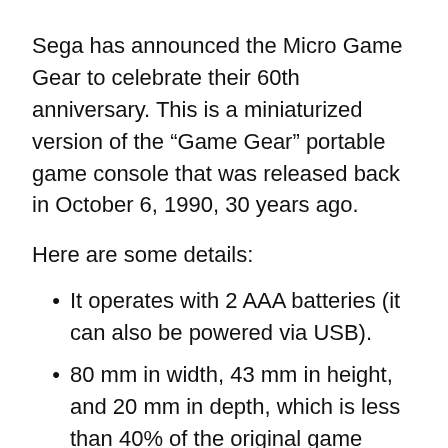Sega has announced the Micro Game Gear to celebrate their 60th anniversary. This is a miniaturized version of the “Game Gear” portable game console that was released back in October 6, 1990, 30 years ago.
Here are some details:
It operates with 2 AAA batteries (it can also be powered via USB).
80 mm in width, 43 mm in height, and 20 mm in depth, which is less than 40% of the original game gear. It will weight less than 40 grams (will be around 60 grams with 2 AAA batteries).